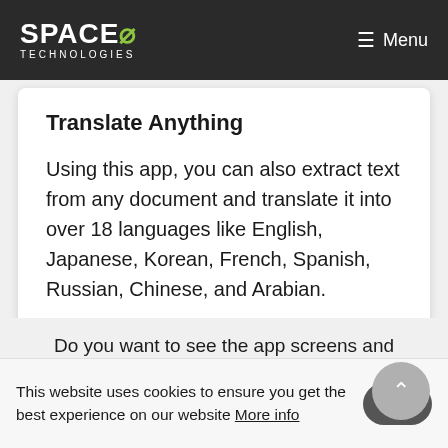SPACEØ TECHNOLOGIES — Menu
Translate Anything
Using this app, you can also extract text from any document and translate it into over 18 languages like English, Japanese, Korean, French, Spanish, Russian, Chinese, and Arabian.
Do you want to see the app screens and features in detail? We have a portfolio that you can can out.
This website uses cookies to ensure you get the best experience on our website More info